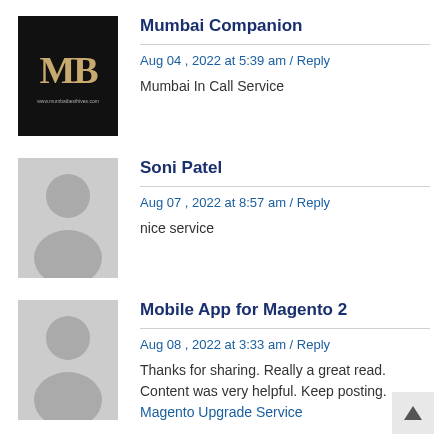[Figure (logo): Mumbai Companion logo: black square with stylized 'MB' monogram in gold/white]
Mumbai Companion
Aug 04 , 2022 at 5:39 am / Reply
Mumbai In Call Service
[Figure (photo): Generic grey user avatar silhouette placeholder]
Soni Patel
Aug 07 , 2022 at 8:57 am / Reply
nice service
[Figure (photo): Generic grey user avatar silhouette placeholder]
Mobile App for Magento 2
Aug 08 , 2022 at 3:33 am / Reply
Thanks for sharing. Really a great read. Content was very helpful. Keep posting. Magento Upgrade Service